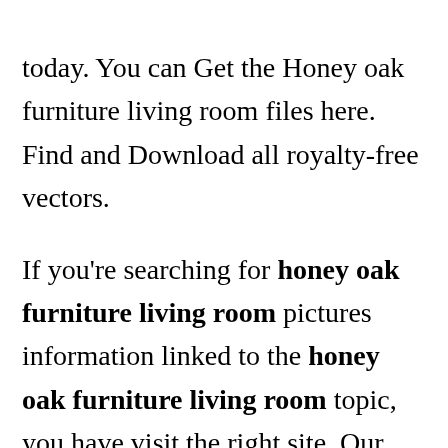today. You can Get the Honey oak furniture living room files here. Find and Download all royalty-free vectors.
If you're searching for honey oak furniture living room pictures information linked to the honey oak furniture living room topic, you have visit the right site. Our website frequently provides you with hints for seeing the highest quality video and image content, please kindly hunt [CLOSE X] cate more